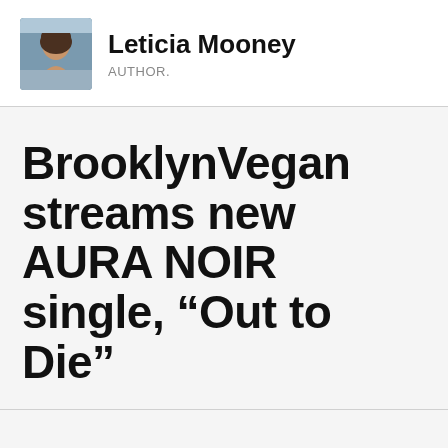[Figure (photo): Small portrait photo of a woman with brown hair outdoors near water]
Leticia Mooney
AUTHOR.
BrooklynVegan streams new AURA NOIR single, “Out to Die”